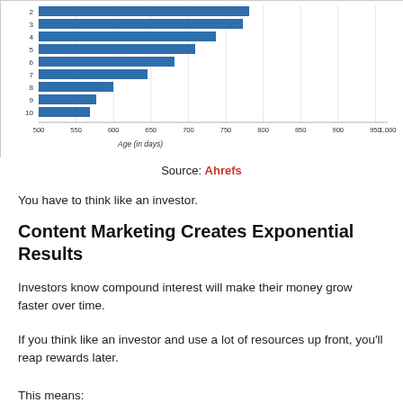[Figure (bar-chart): Age (in days)]
Source: Ahrefs
You have to think like an investor.
Content Marketing Creates Exponential Results
Investors know compound interest will make their money grow faster over time.
If you think like an investor and use a lot of resources up front, you'll reap rewards later.
This means: